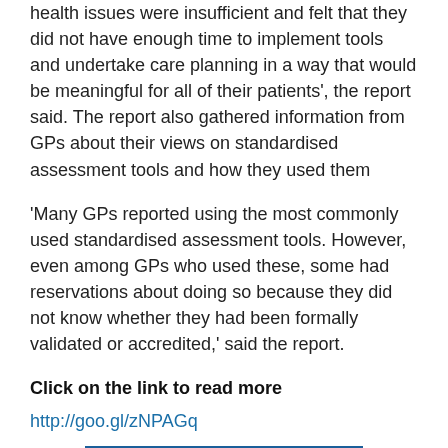health issues were insufficient and felt that they did not have enough time to implement tools and undertake care planning in a way that would be meaningful for all of their patients', the report said. The report also gathered information from GPs about their views on standardised assessment tools and how they used them
'Many GPs reported using the most commonly used standardised assessment tools. However, even among GPs who used these, some had reservations about doing so because they did not know whether they had been formally validated or accredited,' said the report.
Click on the link to read more
http://goo.gl/zNPAGq
[Figure (logo): Pulse magazine logo banner — blue background with white bold italic PULSE text and tagline 'At the heart of general practice']